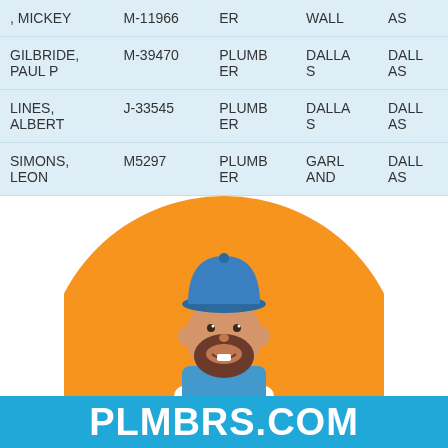| Name | License | Type | City | County |
| --- | --- | --- | --- | --- |
| , MICKEY | M-11966 | ER | WALL | AS |
| GILBRIDE, PAUL P | M-39470 | PLUMBER | DALLAS | DALLAS |
| LINES, ALBERT | J-33545 | PLUMBER | DALLAS | DALLAS |
| SIMONS, LEON | M5297 | PLUMBER | GARLAND | DALLAS |
[Figure (logo): Illustration of a cartoon bearded plumber with a blue cap and overalls, set against an orange semicircle, above a blue banner reading PLMBRS.COM]